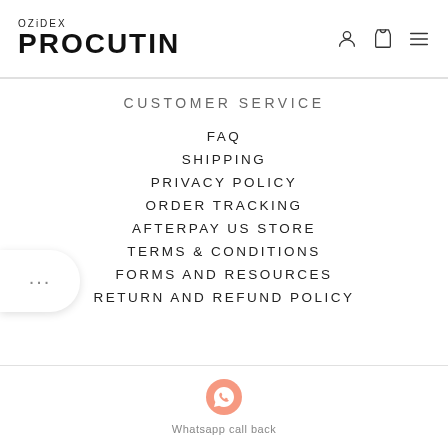OZiDEX PROCUTIN
CUSTOMER SERVICE
FAQ
SHIPPING
PRIVACY POLICY
ORDER TRACKING
AFTERPAY US STORE
TERMS & CONDITIONS
FORMS AND RESOURCES
RETURN AND REFUND POLICY
[Figure (illustration): WhatsApp call back button with phone icon]
Whatsapp call back